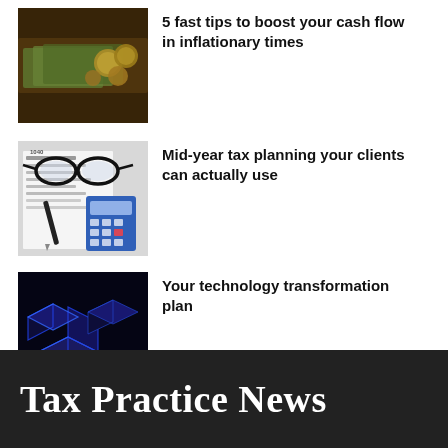[Figure (photo): Photo of cash money and coins on a dark surface]
5 fast tips to boost your cash flow in inflationary times
[Figure (photo): Photo of glasses, tax form 1040, pen, and blue calculator]
Mid-year tax planning your clients can actually use
[Figure (photo): Dark blue 3D maze/blocks illustration representing technology transformation]
Your technology transformation plan
Tax Practice News